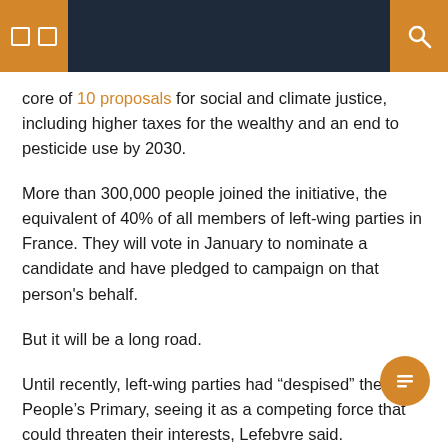navigation header with menu icons and search
core of 10 proposals for social and climate justice, including higher taxes for the wealthy and an end to pesticide use by 2030.
More than 300,000 people joined the initiative, the equivalent of 40% of all members of left-wing parties in France. They will vote in January to nominate a candidate and have pledged to campaign on that person's behalf.
But it will be a long road.
Until recently, left-wing parties had “despised” the People’s Primary, seeing it as a competing force that could threaten their interests, Lefebvre said.
Samuel Grzybowski, a spokesman for the effort, said his team had been under pressure from established parties to